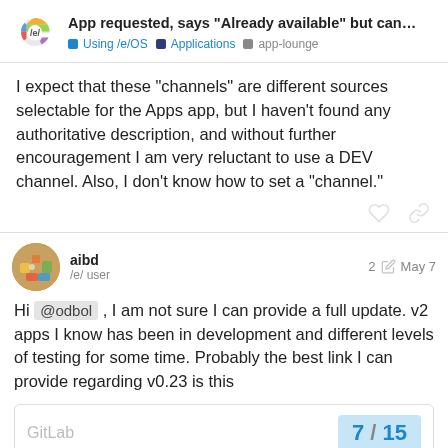App requested, says “Already available” but can... | Using /e/OS | Applications | app-lounge
I expect that these “channels” are different sources selectable for the Apps app, but I haven’t found any authoritative description, and without further encouragement I am very reluctant to use a DEV channel. Also, I don’t know how to set a “channel.”
aibd /e/ user  2  May 7
Hi @odbol , I am not sure I can provide a full update. v2 apps I know has been in development and different levels of testing for some time. Probably the best link I can provide regarding v0.23 is this
[Figure (screenshot): Link preview card showing GitLab with page navigation 7/15]